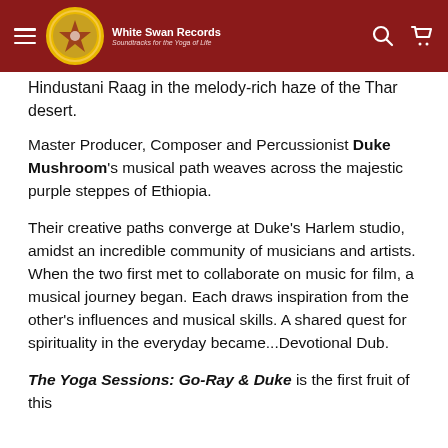White Swan Records — Soundtracks for the Yoga of Life
Hindustani Raag in the melody-rich haze of the Thar desert.
Master Producer, Composer and Percussionist Duke Mushroom's musical path weaves across the majestic purple steppes of Ethiopia.
Their creative paths converge at Duke's Harlem studio, amidst an incredible community of musicians and artists. When the two first met to collaborate on music for film, a musical journey began. Each draws inspiration from the other's influences and musical skills. A shared quest for spirituality in the everyday became...Devotional Dub.
The Yoga Sessions: Go-Ray & Duke is the first fruit of this